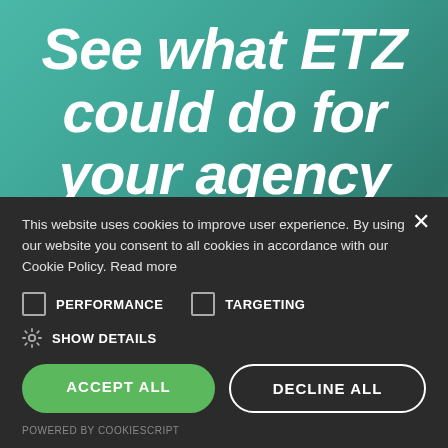See what ETZ could do for your agency with an online demo
This website uses cookies to improve user experience. By using our website you consent to all cookies in accordance with our Cookie Policy. Read more
PERFORMANCE
TARGETING
SHOW DETAILS
ACCEPT ALL
DECLINE ALL
POWERED BY COOKIESCRIPT